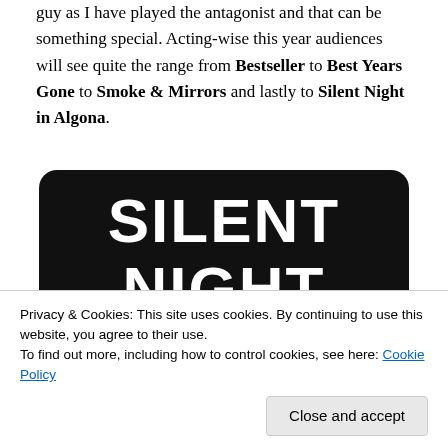guy as I have played the antagonist and that can be something special. Acting-wise this year audiences will see quite the range from Bestseller to Best Years Gone to Smoke & Mirrors and lastly to Silent Night in Algona.
[Figure (photo): Black movie title card image with white stencil-style text reading 'SILENT NIGHT IN' on a black rounded-rectangle background]
Privacy & Cookies: This site uses cookies. By continuing to use this website, you agree to their use.
To find out more, including how to control cookies, see here: Cookie Policy